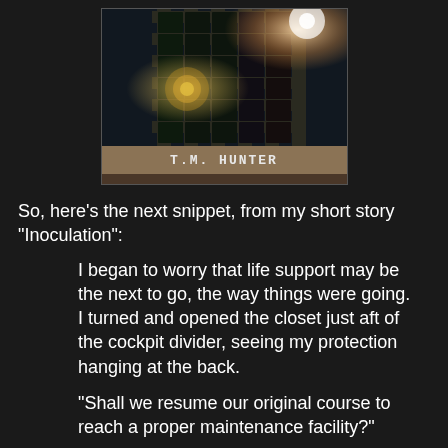[Figure (photo): Book cover image showing a metal grid/cage structure with glowing light effects, with an author name bar reading 'T.M. HUNTER' in a brownish-tan bar below the image, followed by a dark brown bar at the bottom.]
So, here's the next snippet, from my short story "Inoculation":
I began to worry that life support may be the next to go, the way things were going. I turned and opened the closet just aft of the cockpit divider, seeing my protection hanging at the back.
“Shall we resume our original course to reach a proper maintenance facility?”
“No, I expect to figure out what’s going on with